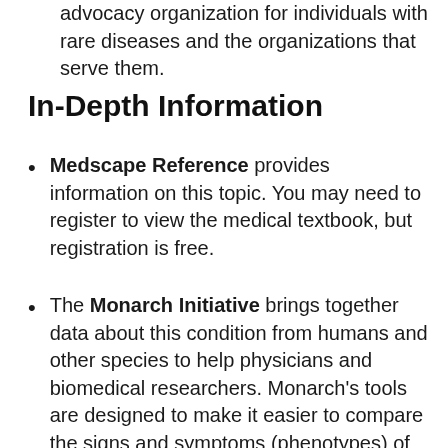advocacy organization for individuals with rare diseases and the organizations that serve them.
In-Depth Information
Medscape Reference provides information on this topic. You may need to register to view the medical textbook, but registration is free.
The Monarch Initiative brings together data about this condition from humans and other species to help physicians and biomedical researchers. Monarch's tools are designed to make it easier to compare the signs and symptoms (phenotypes) of different diseases and discover common features. This initiative is a collaboration between several academic institutions across the world and is